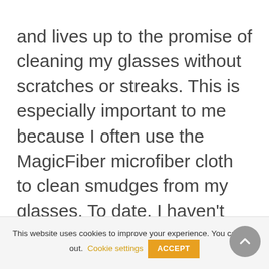and lives up to the promise of cleaning my glasses without scratches or streaks. This is especially important to me because I often use the MagicFiber microfiber cloth to clean smudges from my glasses. To date, I haven't discerned the MagicFiber creating any visible scratches on my lenses.
This website uses cookies to improve your experience. You can opt-out. Cookie settings ACCEPT